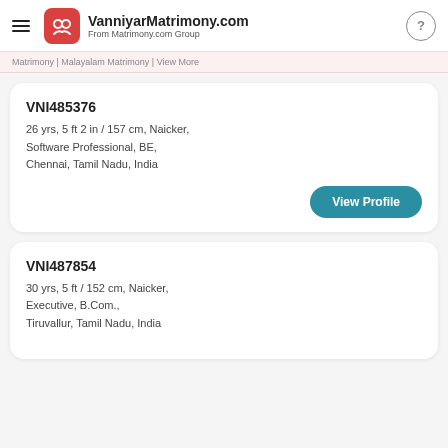VanniyarMatrimony.com
From Matrimony.com Group
Matrimony | Malayalam Matrimony | View More
VNI485376
26 yrs, 5 ft 2 in / 157 cm, Naicker,
Software Professional, BE,
Chennai, Tamil Nadu, India
View Profile
VNI487854
30 yrs, 5 ft / 152 cm, Naicker,
Executive, B.Com.,
Tiruvallur, Tamil Nadu, India